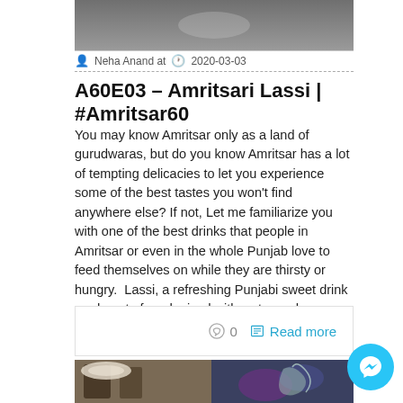[Figure (photo): Top cropped image, mostly grey/dark tones, partial view of an object]
Neha Anand at   2020-03-03
A60E03 – Amritsari Lassi | #Amritsar60
You may know Amritsar only as a land of gurudwaras, but do you know Amritsar has a lot of tempting delicacies to let you experience some of the best tastes you won't find anywhere else? If not, Let me familiarize you with one of the best drinks that people in Amritsar or even in the whole Punjab love to feed themselves on while they are thirsty or hungry.  Lassi, a refreshing Punjabi sweet drink made out of curd mixed with water and sugar. But in Amritsar, you will find this in some different manner with additional butter and cream as [...]
0   Read more
[Figure (photo): Two bottom photos side by side: left shows food in clay/metal pots, right shows colorful liquid or seafood]
[Figure (other): Messenger chat button (cyan circle with messenger icon)]